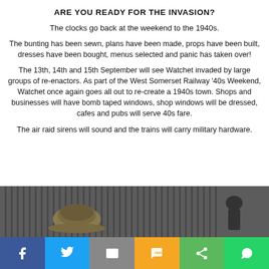ARE YOU READY FOR THE INVASION?
The clocks go back at the weekend to the 1940s.
The bunting has been sewn, plans have been made, props have been built, dresses have been bought, menus selected and panic has taken over!
The 13th, 14th and 15th September will see Watchet invaded by large groups of re-enactors. As part of the West Somerset Railway '40s Weekend, Watchet once again goes all out to re-create a 1940s town. Shops and businesses will have bomb taped windows, shop windows will be dressed, cafes and pubs will serve 40s fare.
The air raid sirens will sound and the trains will carry military hardware.
[Figure (photo): Outdoor scene with corrugated dark metal building wall, a person wearing a WWII-era military helmet on the left, and a dark uniformed figure on the right.]
Social sharing bar: Facebook, Twitter, Email, SMS, Share, WhatsApp